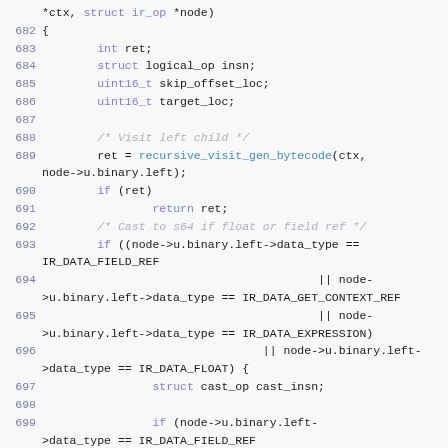[Figure (screenshot): Source code listing in C, lines 682-699, showing a function body with variable declarations, recursive function call, conditional checks for IR data types, and a cast operation.]